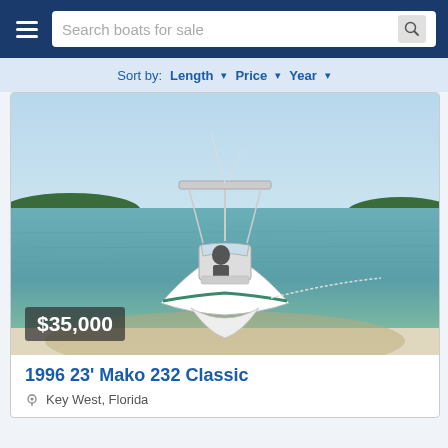Search boats for sale
Sort by: Length ▾  Price ▾  Year ▾
[Figure (photo): White center console fishing boat with T-top anchored near a sandy shore with tropical islands in the background, clear blue-green water, price overlay showing $35,000]
1996 23' Mako 232 Classic
Key West, Florida